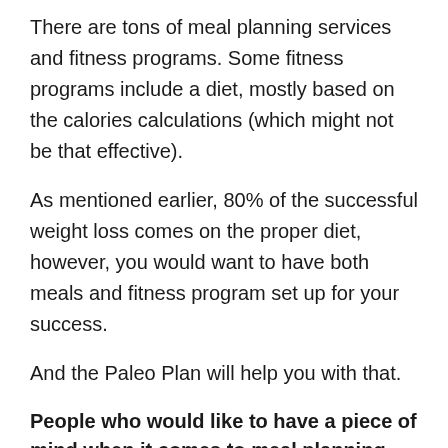There are tons of meal planning services and fitness programs. Some fitness programs include a diet, mostly based on the calories calculations (which might not be that effective).
As mentioned earlier, 80% of the successful weight loss comes on the proper diet, however, you would want to have both meals and fitness program set up for your success.
And the Paleo Plan will help you with that.
People who would like to have a piece of mind when it comes to meal planning
This is applicable not only to people who are at the beginning of their Paleo journey, but also people who have been paleo for some time.